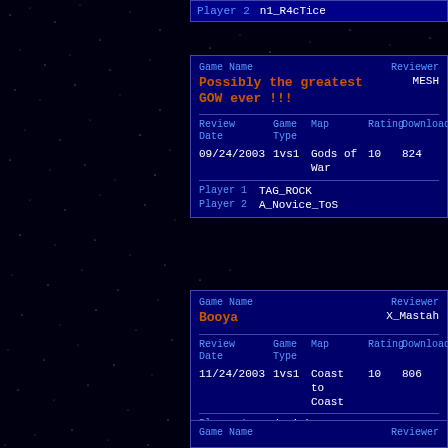| Player 2 | n1_R4cTice |
| --- | --- |
| Game Name | Reviewer |
| --- | --- |
| Possibly the greatest GOW ever !!! | MESH |
| Review Date | Game Type | Map | Rating | Download |
| 09/24/2003 | 1vs1 | Gods of War | 10 | 824 |
| Player 1 | TAG_ROCK |
| Player 2 | A_Novice_ToS |
| Game Name | Reviewer |
| --- | --- |
| Booya | X_Mastah |
| Review Date | Game Type | Map | Rating | Download |
| 11/24/2003 | 1vs1 | Coast to Coast | 10 | 806 |
| Player 1 | N_daWickeD__ |
| Player 2 | N_Pacerx |